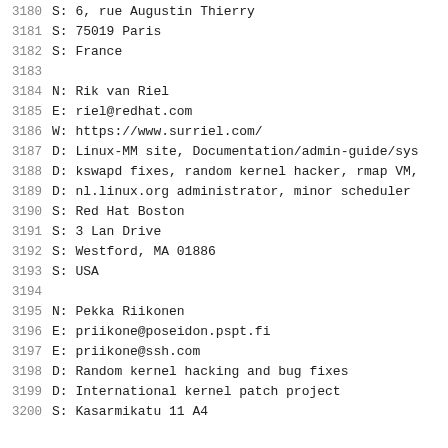3180  S: 6, rue Augustin Thierry
3181  S: 75019 Paris
3182  S: France
3183
3184  N: Rik van Riel
3185  E: riel@redhat.com
3186  W: https://www.surriel.com/
3187  D: Linux-MM site, Documentation/admin-guide/sys
3188  D: kswapd fixes, random kernel hacker, rmap VM,
3189  D: nl.linux.org administrator, minor scheduler
3190  S: Red Hat Boston
3191  S: 3 Lan Drive
3192  S: Westford, MA 01886
3193  S: USA
3194
3195  N: Pekka Riikonen
3196  E: priikone@poseidon.pspt.fi
3197  E: priikone@ssh.com
3198  D: Random kernel hacking and bug fixes
3199  D: International kernel patch project
3200  S: Kasarmikatu 11 A4